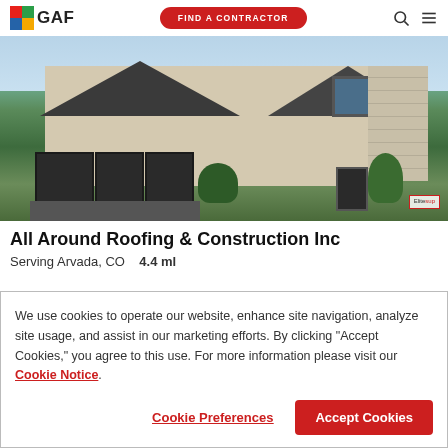GAF | FIND A CONTRACTOR
[Figure (photo): Exterior photo of a large suburban house with dark asphalt shingle roof, three-car garage, stone and stucco facade, landscaped front yard. Small GAF badge overlay visible in lower right of image.]
All Around Roofing & Construction Inc
Serving Arvada, CO   4.4 mi
We use cookies to operate our website, enhance site navigation, analyze site usage, and assist in our marketing efforts. By clicking "Accept Cookies," you agree to this use. For more information please visit our Cookie Notice.
Cookie Preferences | Accept Cookies